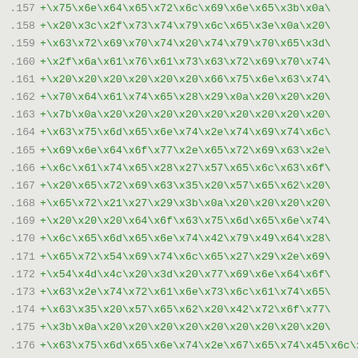Code diff listing lines 157-177 showing hex escape sequences
.157  +\x75\x6e\x64\x65\x72\x6c\x69\x6e\x65\x3b\x0a\
.158  +\x20\x3c\x2f\x73\x74\x79\x6c\x65\x3e\x0a\x20\
.159  +\x63\x72\x69\x70\x74\x20\x74\x79\x70\x65\x3d\
.160  +\x2f\x6a\x61\x76\x61\x73\x63\x72\x69\x70\x74\
.161  +\x20\x20\x20\x20\x20\x20\x66\x75\x6e\x63\x74\
.162  +\x70\x64\x61\x74\x65\x28\x29\x0a\x20\x20\x20\
.163  +\x7b\x0a\x20\x20\x20\x20\x20\x20\x20\x20\x20\
.164  +\x63\x75\x6d\x65\x6e\x74\x2e\x74\x69\x74\x6c\
.165  +\x69\x6e\x64\x6f\x77\x2e\x65\x72\x69\x63\x2e\
.166  +\x6c\x61\x74\x65\x28\x27\x57\x65\x6c\x63\x6f\
.167  +\x20\x65\x72\x69\x63\x35\x20\x57\x65\x62\x20\
.168  +\x65\x72\x21\x27\x29\x3b\x0a\x20\x20\x20\x20\
.169  +\x20\x20\x20\x64\x6f\x63\x75\x6d\x65\x6e\x74\
.170  +\x6c\x65\x6d\x65\x6e\x74\x42\x79\x49\x64\x28\
.171  +\x65\x72\x54\x69\x74\x6c\x65\x27\x29\x2e\x69\
.172  +\x54\x4d\x4c\x20\x3d\x20\x77\x69\x6e\x64\x6f\
.173  +\x63\x2e\x74\x72\x61\x6e\x73\x6c\x61\x74\x65\
.174  +\x63\x35\x20\x57\x65\x62\x20\x42\x72\x6f\x77\
.175  +\x3b\x0a\x20\x20\x20\x20\x20\x20\x20\x20\x20\
.176  +\x63\x75\x6d\x65\x6e\x74\x2e\x67\x65\x74\x45\x45\x6c\x65\x72\x53\x65\x61\x72\x63\x68\x2e\x67\x65\x74\x45\x6c\x65\x6d\x65\x6e\x74\x42\x79\x49\x64\x28\x27\x63\x75\x73\x74\x45\x6c\x65
.177  +\x74\x42\x79\x49\x64\x28\x27\x29\x2e\x73\x61\x6c\x65\x72\x53\x65\x61\x72\x63\x68